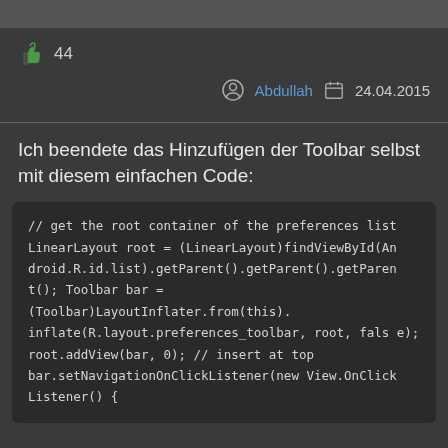[Figure (other): Top gray bar decorative element]
44 (like count with thumbs up icon)
Abdullah  24.04.2015
Ich beendete das Hinzufügen der Toolbar selbst mit diesem einfachen Code:
// get the root container of the preferences list
LinearLayout root = (LinearLayout)findViewById(Android.R.id.list).getParent().getParent().getParent();
Toolbar bar = (Toolbar)LayoutInflater.from(this).inflate(R.layout.preferences_toolbar, root, false);
root.addView(bar, 0); // insert at top
bar.setNavigationOnClickListener(new View.OnClickListener() {